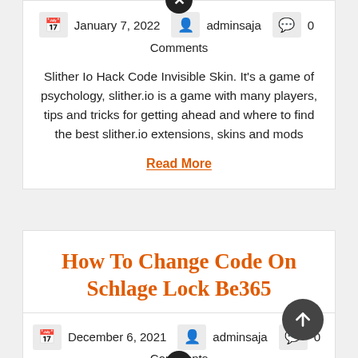January 7, 2022  adminsaja  0 Comments
Slither Io Hack Code Invisible Skin. It's a game of psychology, slither.io is a game with many players, tips and tricks for getting ahead and where to find the best slither.io extensions, skins and mods
Read More
How To Change Code On Schlage Lock Be365
December 6, 2021  adminsaja  0 Comments